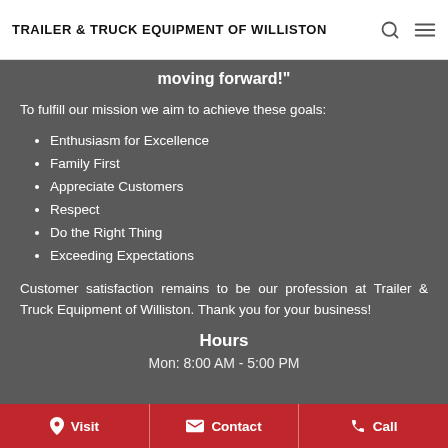TRAILER & TRUCK EQUIPMENT OF WILLISTON
moving forward!"
To fulfill our mission we aim to achieve these goals:
Enthusiasm for Excellence
Family First
Appreciate Customers
Respect
Do the Right Thing
Exceeding Expectations
Customer satisfaction remains to be our profession at Trailer & Truck Equipment of Williston. Thank you for your business!
Hours
Mon: 8:00 AM - 5:00 PM
Visit   Contact   Call